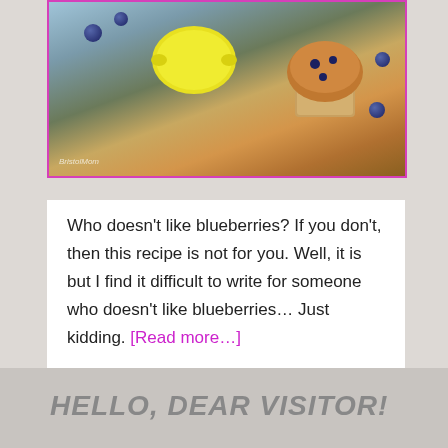[Figure (photo): A photo of a lemon, blueberry muffin in paper wrapper, and scattered blueberries on a wooden surface, framed with a pink/magenta border.]
Who doesn't like blueberries? If you don't, then this recipe is not for you. Well, it is but I find it difficult to write for someone who doesn't like blueberries… Just kidding. [Read more…]
HELLO, DEAR VISITOR!